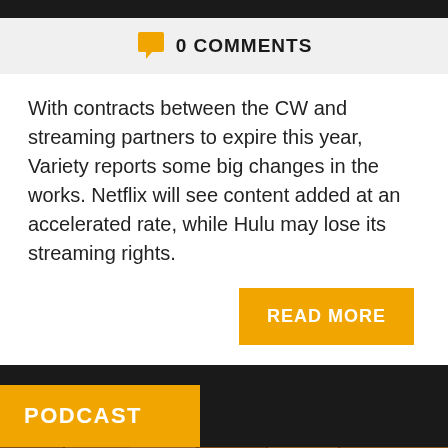0 COMMENTS
With contracts between the CW and streaming partners to expire this year, Variety reports some big changes in the works. Netflix will see content added at an accelerated rate, while Hulu may lose its streaming rights.
READ MORE
PODCAST
[Figure (photo): Wood panel background image]